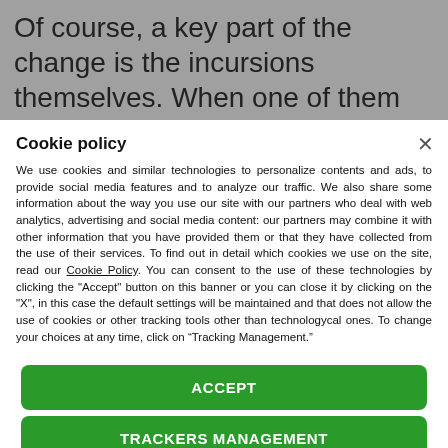Of course, a key part of the change is the incursions themselves. When one of them starts,
Cookie policy
We use cookies and similar technologies to personalize contents and ads, to provide social media features and to analyze our traffic. We also share some information about the way you use our site with our partners who deal with web analytics, advertising and social media content: our partners may combine it with other information that you have provided them or that they have collected from the use of their services. To find out in detail which cookies we use on the site, read our Cookie Policy. You can consent to the use of these technologies by clicking the "Accept" button on this banner or you can close it by clicking on the "X", in this case the default settings will be maintained and that does not allow the use of cookies or other tracking tools other than technologycal ones. To change your choices at any time, click on “Tracking Management.”
ACCEPT
TRACKERS MANAGEMENT
Show vendors | Show purposes